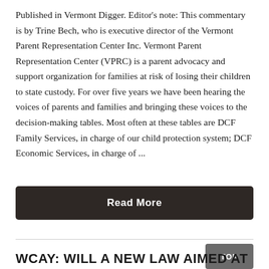Published in Vermont Digger. Editor's note: This commentary is by Trine Bech, who is executive director of the Vermont Parent Representation Center Inc. Vermont Parent Representation Center (VPRC) is a parent advocacy and support organization for families at risk of losing their children to state custody. For over five years we have been hearing the voices of parents and families and bringing these voices to the decision-making tables. Most often at these tables are DCF Family Services, in charge of our child protection system; DCF Economic Services, in charge of ...
Read More
TOP
WCAY: WILL A NEW LAW AIMED AT